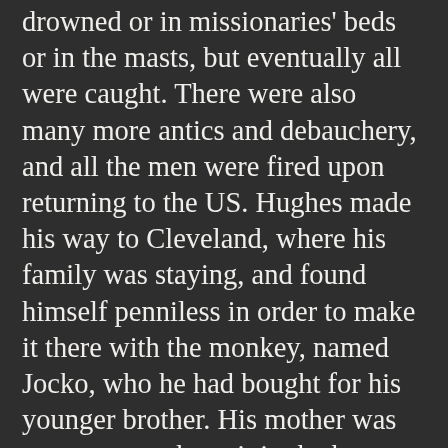drowned or in missionaries' beds or in the masts, but eventually all were caught. There were also many more antics and debauchery, and all the men were fired upon returning to the US. Hughes made his way to Cleveland, where his family was staying, and found himself penniless in order to make it there with the monkey, named Jocko, who he had bought for his younger brother. His mother was very upset to have it in the home, but his stepfather and brother liked it, so the monkey stayed. Then his stepfather's mother came to town, and his mother had an ally to protest about the monkey. Then when his stepfather had the monkey out on the town one night and it got scared and destroyed the carpeting of a pool table, it cost them 25 dollars to have it